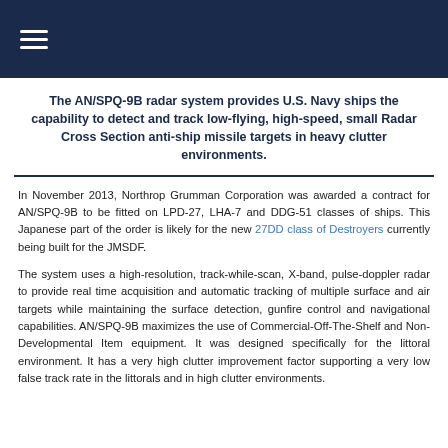The AN/SPQ-9B radar system provides U.S. Navy ships the capability to detect and track low-flying, high-speed, small Radar Cross Section anti-ship missile targets in heavy clutter environments.
In November 2013, Northrop Grumman Corporation was awarded a contract for AN/SPQ-9B to be fitted on LPD-27, LHA-7 and DDG-51 classes of ships. This Japanese part of the order is likely for the new 27DD class of Destroyers currently being built for the JMSDF.
The system uses a high-resolution, track-while-scan, X-band, pulse-doppler radar to provide real time acquisition and automatic tracking of multiple surface and air targets while maintaining the surface detection, gunfire control and navigational capabilities. AN/SPQ-9B maximizes the use of Commercial-Off-The-Shelf and Non-Developmental Item equipment. It was designed specifically for the littoral environment. It has a very high clutter improvement factor supporting a very low false track rate in the littorals and in high clutter environments.